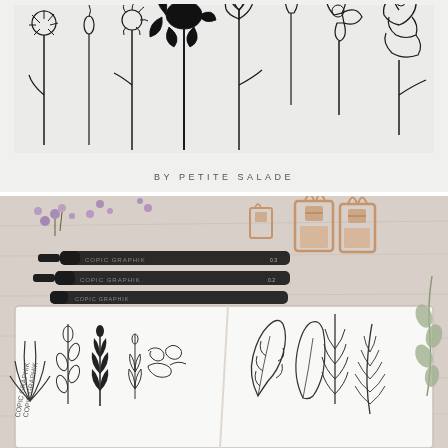[Figure (illustration): Hand-drawn botanical flower illustrations on light gray background — various flower types including dandelions, tulips, roses, wildflowers in black ink line art style. Text 'BY PETITE SALADE' in spaced caps below the flowers.]
[Figure (photo): Overhead flat lay photo of an open sketchbook filled with hand-drawn botanical leaf and plant illustrations in black ink. Surrounding the sketchbook are purple dried flowers, two black Copic Graphik pens, rose gold binder clips, and eucalyptus sprigs on a light wood surface.]